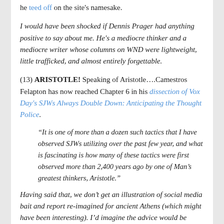he teed off on the site's namesake.
I would have been shocked if Dennis Prager had anything positive to say about me. He's a mediocre thinker and a mediocre writer whose columns on WND were lightweight, little trafficked, and almost entirely forgettable.
(13) ARISTOTLE! Speaking of Aristotle….Camestros Felapton has now reached Chapter 6 in his dissection of Vox Day's SJWs Always Double Down: Anticipating the Thought Police.
“It is one of more than a dozen such tactics that I have observed SJWs utilizing over the past few year, and what is fascinating is how many of these tactics were first observed more than 2,400 years ago by one of Man’s greatest thinkers, Aristotle.”
Having said that, we don’t get an illustration of social media bait and report re-imagined for ancient Athens (which might have been interesting). I’d imagine the advice would be simple from Aristotle – if somebody is trying to bait you then don’t let